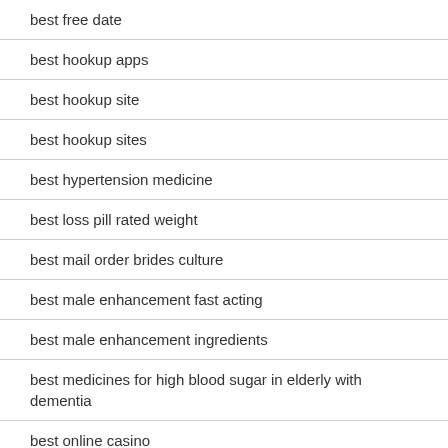best free date
best hookup apps
best hookup site
best hookup sites
best hypertension medicine
best loss pill rated weight
best mail order brides culture
best male enhancement fast acting
best male enhancement ingredients
best medicines for high blood sugar in elderly with dementia
best online casino